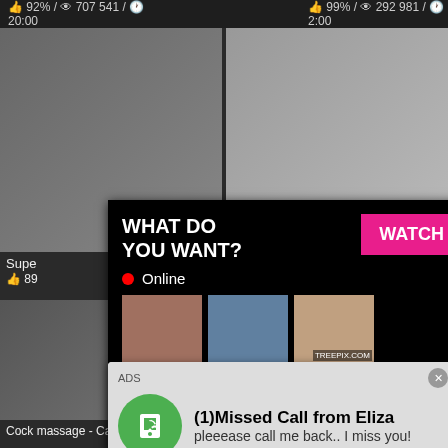92% / 707 541 / 20:00   99% / 292 981 / 2:00
Supe...  89...
olly
[Figure (screenshot): Ad popup: WHAT DO YOU WANT? with WATCH button, Online indicator, thumbnail images, text 'Cumming, ass fucking, squirt or...' and ADS label with X close]
[Figure (screenshot): Ad popup: Missed Call notification with WhatsApp-style phone icon, title '(1)Missed Call from Eliza', subtitle 'pleeease call me back.. I miss you!', audio player with progress bar showing 0:00 to 3:23, and playback controls]
Cock massage - Capri
BBW Maxie Pleasure shows